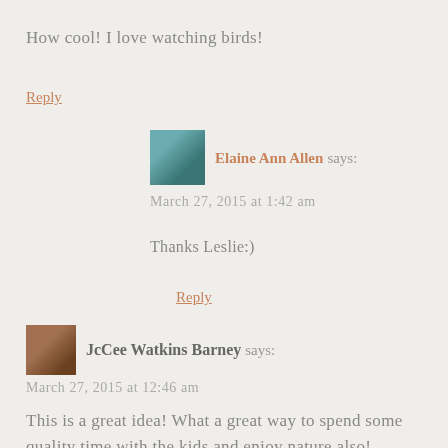How cool! I love watching birds!
Reply
Elaine Ann Allen says:
March 27, 2015 at 1:42 am
Thanks Leslie:)
Reply
JcCee Watkins Barney says:
March 27, 2015 at 12:46 am
This is a great idea! What a great way to spend some quality time with the kids and enjoy nature also!